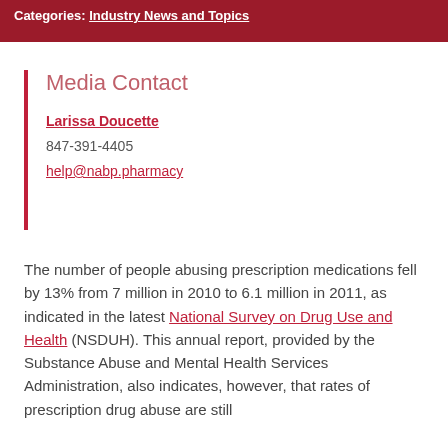Categories: Industry News and Topics
Media Contact
Larissa Doucette
847-391-4405
help@nabp.pharmacy
The number of people abusing prescription medications fell by 13% from 7 million in 2010 to 6.1 million in 2011, as indicated in the latest National Survey on Drug Use and Health (NSDUH). This annual report, provided by the Substance Abuse and Mental Health Services Administration, also indicates, however, that rates of prescription drug abuse are still